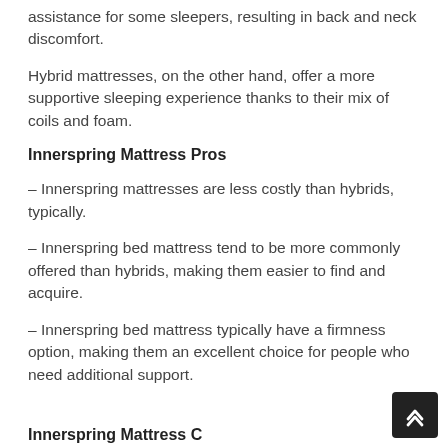assistance for some sleepers, resulting in back and neck discomfort.
Hybrid mattresses, on the other hand, offer a more supportive sleeping experience thanks to their mix of coils and foam.
Innerspring Mattress Pros
– Innerspring mattresses are less costly than hybrids, typically.
– Innerspring bed mattress tend to be more commonly offered than hybrids, making them easier to find and acquire.
– Innerspring bed mattress typically have a firmness option, making them an excellent choice for people who need additional support.
Innerspring Mattress C